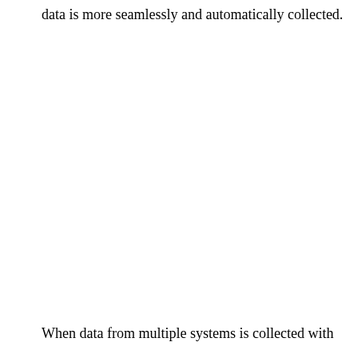data is more seamlessly and automatically collected.
When data from multiple systems is collected with